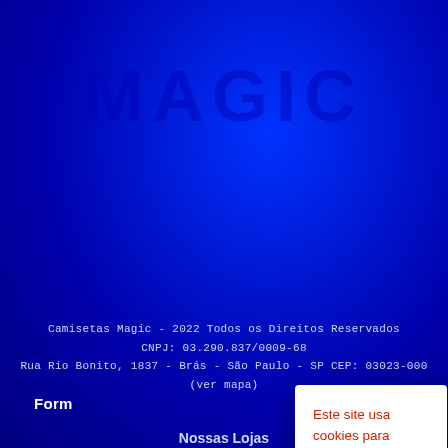[Figure (logo): Camisetas Magic logo text watermark on blue gradient background]
Camisetas Magic - 2022 Todos os Direitos Reservados
CNPJ: 03.290.837/0009-68
Rua Rio Bonito, 1837 - Brás - São Paulo - SP CEP: 03023-000
(ver mapa)
Este site usa cookies para melhorar sua experiência e ao continuar navegando neste site, você declara estar ciente dessas condições. Termo de privacidade
Configurações de cookies
Aceitar tudo
Form
Nossas Lojas